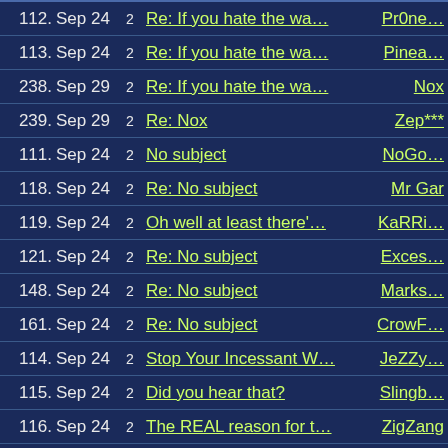112. Sep 24 2  Re: If you hate the wa...  Pr0ne...
113. Sep 24 2  Re: If you hate the wa...  Pinea...
238. Sep 29 2  Re: If you hate the wa...  Nox
239. Sep 29 2  Re: Nox  Zep***
111. Sep 24 2  No subject  NoGo...
118. Sep 24 2  Re: No subject  Mr Gar
119. Sep 24 2  Oh well at least there'...  KaRRi...
121. Sep 24 2  Re: No subject  Exces...
148. Sep 24 2  Re: No subject  Marks...
161. Sep 24 2  Re: No subject  CrowF...
114. Sep 24 2  Stop Your Incessant W...  JeZZy...
115. Sep 24 2  Did you hear that?  Slingb...
116. Sep 24 2  The REAL reason for t...  ZigZang